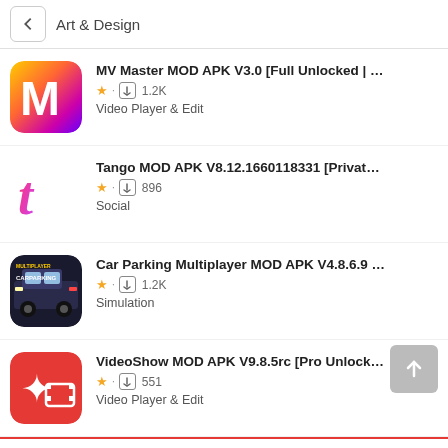Art & Design
MV Master MOD APK V3.0 [Full Unlocked | No Water...
★ · ⬇ 1.2K
Video Player & Edit
Tango MOD APK V8.12.1660118331 [Private Room U...
★ · ⬇ 896
Social
Car Parking Multiplayer MOD APK V4.8.6.9 [Unlimite...
★ · ⬇ 1.2K
Simulation
VideoShow MOD APK V9.8.5rc [Pro Unlock | Premiu...
★ · ⬇ 551
Video Player & Edit
Comments